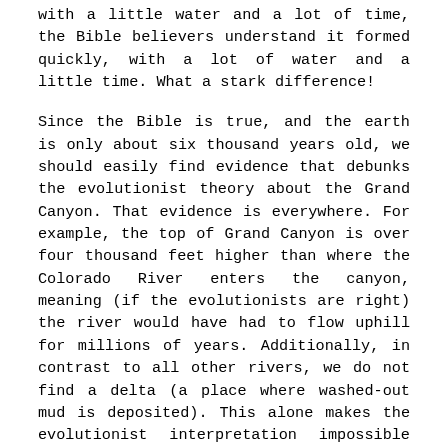with a little water and a lot of time, the Bible believers understand it formed quickly, with a lot of water and a little time. What a stark difference!
Since the Bible is true, and the earth is only about six thousand years old, we should easily find evidence that debunks the evolutionist theory about the Grand Canyon. That evidence is everywhere. For example, the top of Grand Canyon is over four thousand feet higher than where the Colorado River enters the canyon, meaning (if the evolutionists are right) the river would have had to flow uphill for millions of years. Additionally, in contrast to all other rivers, we do not find a delta (a place where washed-out mud is deposited). This alone makes the evolutionist interpretation impossible (Citation 2 paragraph down).
The evidence does, however, point to Noah’s Flood.